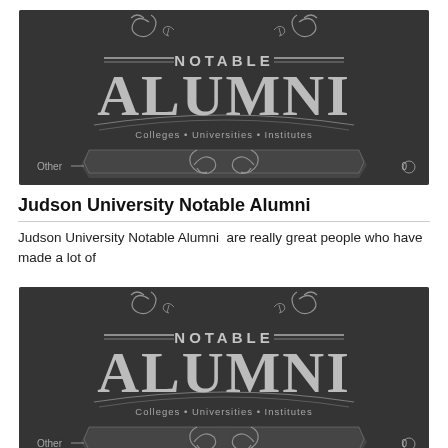[Figure (illustration): Dark chalkboard-style banner reading 'Notable Alumni - Colleges · Universities · Institutes' with decorative flourishes. Shows 'Other' label and '0' count at bottom corners.]
Judson University Notable Alumni
Judson University Notable Alumni  are really great people who have made a lot of
[Figure (illustration): Dark chalkboard-style banner reading 'Notable Alumni - Colleges · Universities · Institutes' with decorative flourishes. Shows 'Other' label and '0' count at bottom corners.]
University of Alaska Fairbanks Notable Alumni